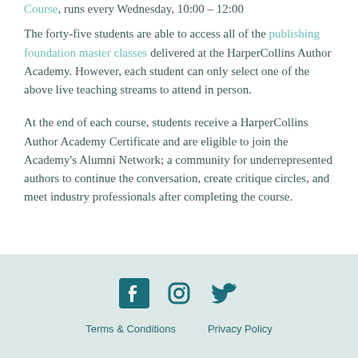Course, runs every Wednesday, 10:00 – 12:00 The forty-five students are able to access all of the publishing foundation master classes delivered at the HarperCollins Author Academy. However, each student can only select one of the above live teaching streams to attend in person.
At the end of each course, students receive a HarperCollins Author Academy Certificate and are eligible to join the Academy's Alumni Network; a community for underrepresented authors to continue the conversation, create critique circles, and meet industry professionals after completing the course.
[Figure (illustration): Three social media icons: Facebook, Instagram, Twitter in dark teal color on a light teal/grey footer background]
Terms & Conditions    Privacy Policy